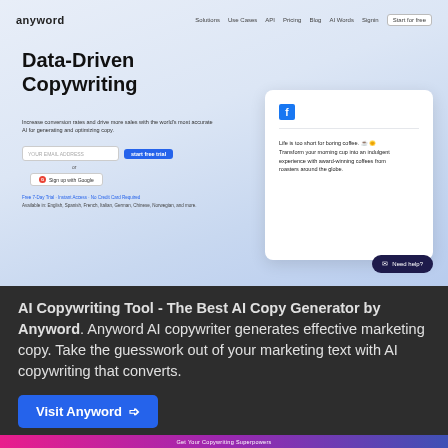[Figure (screenshot): Anyword website screenshot showing 'Data-Driven Copywriting' hero section with email signup form, Google sign-up button, and a Facebook ad preview card. Navigation bar at top with logo and links.]
AI Copywriting Tool - The Best AI Copy Generator by Anyword. Anyword AI copywriter generates effective marketing copy. Take the guesswork out of your marketing text with AI copywriting that converts.
Visit Anyword →
14
ClosersCopy
Get Your Copywriting Superpowers